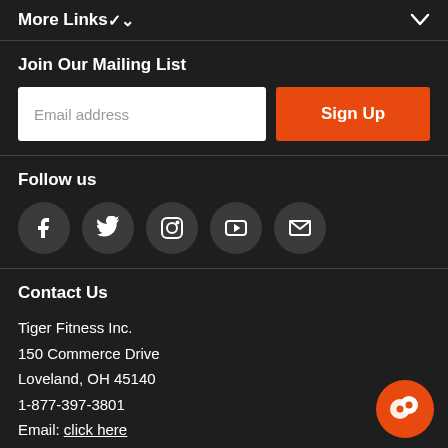More Links
Join Our Mailing List
Email address
Sign Up
Follow us
[Figure (infographic): Row of social media icons: Facebook, Twitter, Instagram, YouTube, Email]
Contact Us
Tiger Fitness Inc.
150 Commerce Drive
Loveland, OH 45140
1-877-397-3801
Email: click here